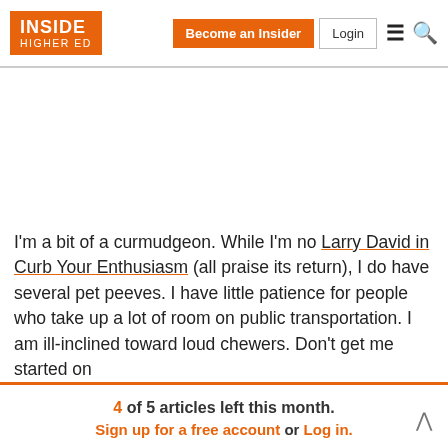INSIDE HIGHER ED | Become an Insider | Login
I'm a bit of a curmudgeon. While I'm no Larry David in Curb Your Enthusiasm (all praise its return), I do have several pet peeves. I have little patience for people who take up a lot of room on public transportation. I am ill-inclined toward loud chewers. Don't get me started on
4 of 5 articles left this month. Sign up for a free account or Log in.